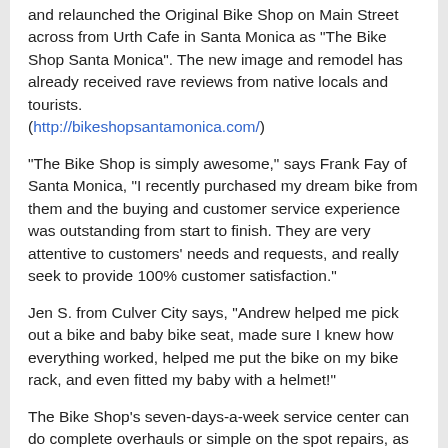and relaunched the Original Bike Shop on Main Street across from Urth Cafe in Santa Monica as 'The Bike Shop Santa Monica'. The new image and remodel has already received rave reviews from native locals and tourists. (http://bikeshopsantamonica.com/)
'The Bike Shop is simply awesome,' says Frank Fay of Santa Monica, 'I recently purchased my dream bike from them and the buying and customer service experience was outstanding from start to finish. They are very attentive to customers' needs and requests, and really seek to provide 100% customer satisfaction.'
Jen S. from Culver City says, "Andrew helped me pick out a bike and baby bike seat, made sure I knew how everything worked, helped me put the bike on my bike rack, and even fitted my baby with a helmet!"
The Bike Shop's seven-days-a-week service center can do complete overhauls or simple on the spot repairs, as well as make upgrades or modifications to your current bike. And, to set itself apart from other bike stores, Andrew Smith and his experienced team have started building custom bikes to fit whatever specific needs you may have as a rider. They carry and modify all the big brands, from Schwin to Bianchi.